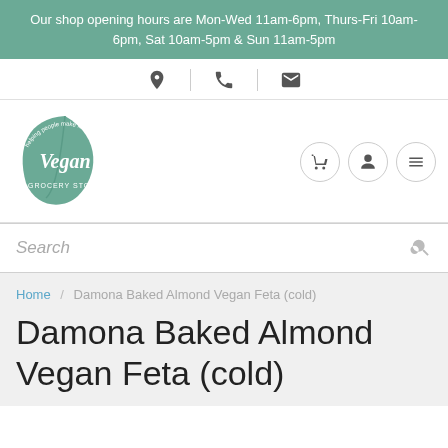Our shop opening hours are Mon-Wed 11am-6pm, Thurs-Fri 10am-6pm, Sat 10am-5pm & Sun 11am-5pm
[Figure (logo): Vegan Grocery Store logo — a green leaf shape with the word Vegan in script and GROCERY STORE below, with the tagline 'helping people make kinder choices' around the top]
Search
Home / Damona Baked Almond Vegan Feta (cold)
Damona Baked Almond Vegan Feta (cold)